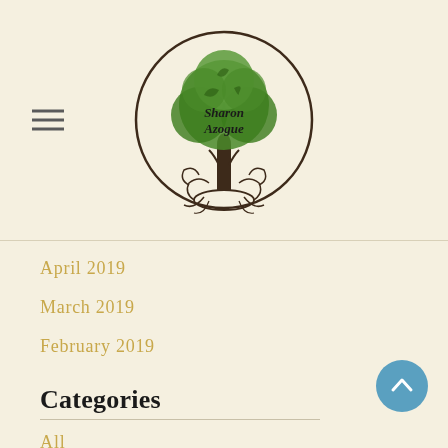[Figure (logo): Sharon Azogue logo: circular design with decorative tree (green leaves/canopy, dark brown trunk and roots) and cursive 'Sharon Azogue' text in the center]
April 2019
March 2019
February 2019
Categories
All
Abraham Hicks
Essential Oils
Food
Hypnotherapy
Living In Alignment